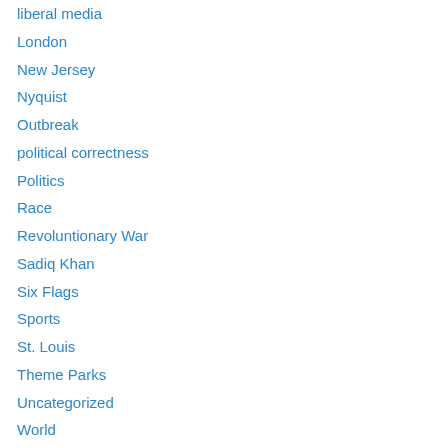liberal media
London
New Jersey
Nyquist
Outbreak
political correctness
Politics
Race
Revoluntionary War
Sadiq Khan
Six Flags
Sports
St. Louis
Theme Parks
Uncategorized
World
Meta